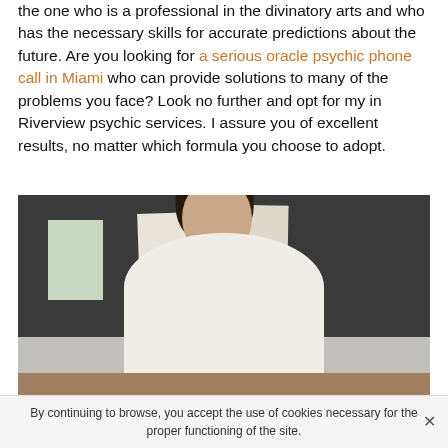the one who is a professional in the divinatory arts and who has the necessary skills for accurate predictions about the future. Are you looking for a serious oracle psychic phone call in Miami who can provide solutions to many of the problems you face? Look no further and opt for my in Riverview psychic services. I assure you of excellent results, no matter which formula you choose to adopt.
[Figure (photo): A young woman with long dark hair wearing glasses and a white shirt, sitting at a desk, resting her chin on her hand in a thoughtful pose. Behind her is a dark wall with papers/notes pinned to it.]
By continuing to browse, you accept the use of cookies necessary for the proper functioning of the site.